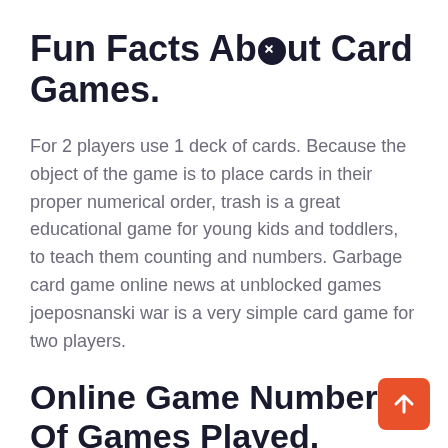Fun Facts About Card Games.
For 2 players use 1 deck of cards. Because the object of the game is to place cards in their proper numerical order, trash is a great educational game for young kids and toddlers, to teach them counting and numbers. Garbage card game online news at unblocked games joeposnanski war is a very simple card game for two players.
Online Game Number Of Games Played.
Trash card game online unblocked. In addition to being built into windows, its other options are located on gaming sites you need at least 2